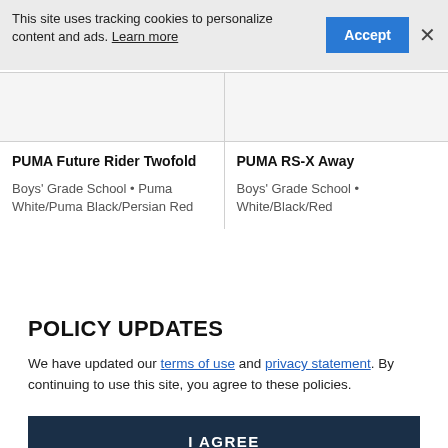This site uses tracking cookies to personalize content and ads. Learn more
PUMA Future Rider Twofold
Boys' Grade School • Puma White/Puma Black/Persian Red
PUMA RS-X Away
Boys' Grade School • White/Black/Red
POLICY UPDATES
We have updated our terms of use and privacy statement. By continuing to use this site, you agree to these policies.
I AGREE